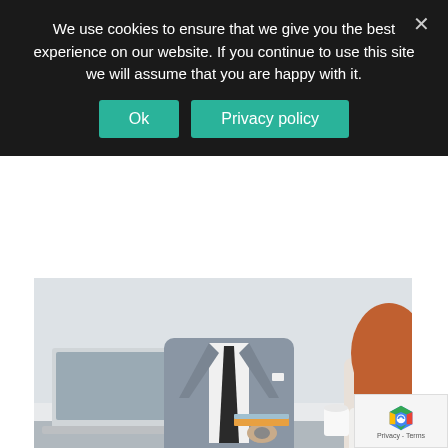We use cookies to ensure that we give you the best experience on our website. If you continue to use this site we will assume that you are happy with it.
[Figure (photo): Photo of a business meeting: a man in a grey suit with a dark tie sits across from a woman with red hair in a white top, at a white desk with a laptop and coffee cup.]
Unless a tax tribunal finds that this condition should not apply, HMRC will have to tell the taxpayer why they're requesting the information. As a result, HMRC may be able to request financial information from taxpayers without their agreement. In the end, HMRC intends to